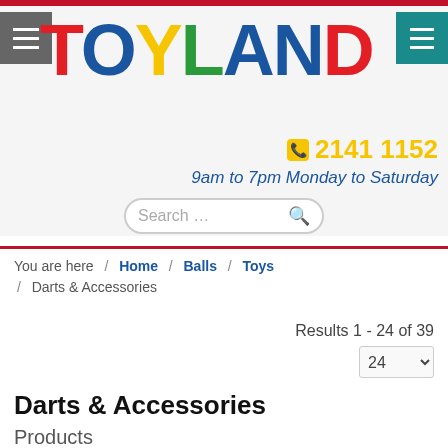[Figure (logo): Toyland logo with colorful letters T(red), O(blue), Y(yellow), L(green), A(blue), N(blue), D(red) on a light gray background]
📞 2141 1152
9am to 7pm Monday to Saturday
Search ...
You are here  /  Home  /  Balls  /  Toys  /  Darts & Accessories
Results 1 - 24 of 39
Darts & Accessories
Products